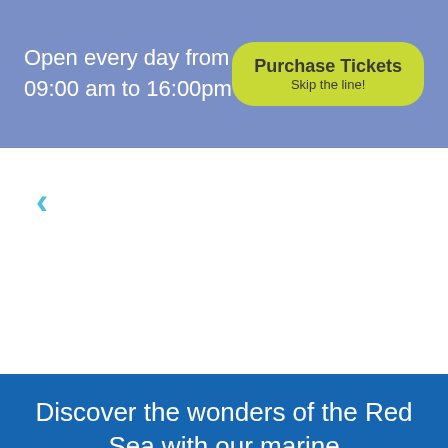Open every day from 09:00 am to 16:00pm
Purchase Tickets
Skip the line!
<
Discover the wonders of the Red Sea with our marine animal experts